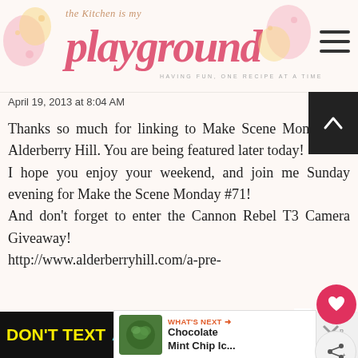[Figure (logo): The Kitchen is My Playground blog logo — script text in pink/coral with decorative floral elements and tagline]
April 19, 2013 at 8:04 AM
Thanks so much for linking to Make Scene Monday @ Alderberry Hill. You are being featured later today!
I hope you enjoy your weekend, and join me Sunday evening for Make the Scene Monday #71!
And don't forget to enter the Cannon Rebel T3 Camera Giveaway!
http://www.alderberryhill.com/a-pre-
[Figure (screenshot): What's Next widget showing Chocolate Mint Chip Ice... thumbnail]
[Figure (infographic): DON'T TEXT AND DRIVE NHTSA public safety advertisement banner — black background with yellow and cyan text and red car emoji]